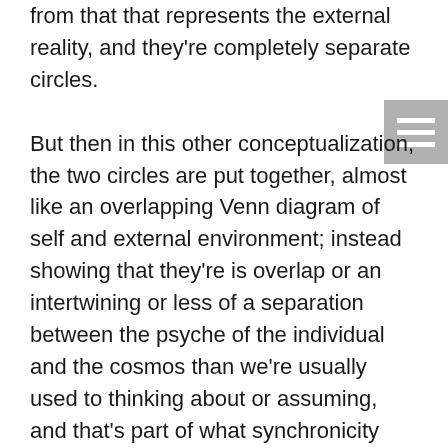from that that represents the external reality, and they're completely separate circles.
But then in this other conceptualization, the two circles are put together, almost like an overlapping Venn diagram of self and external environment; instead showing that they're is overlap or an intertwining or less of a separation between the psyche of the individual and the cosmos than we're usually used to thinking about or assuming, and that's part of what synchronicity occasionally gives this sort of unexpected insight into.
And what gives it its uncanny, sort of numinous, almost supernatural power is